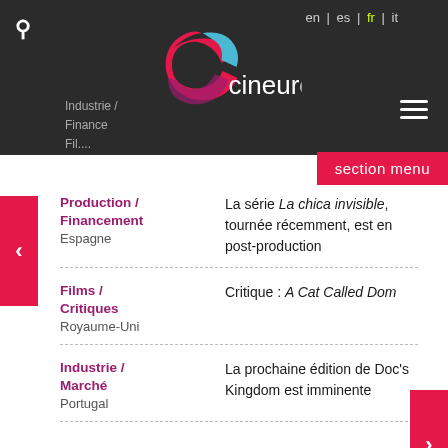Cineuropa - en | es | fr | it
Production / Financement Espagne — La série La chica invisible, tournée récemment, est en post-production
Films / Critiques Royaume-Uni — Critique : A Cat Called Dom
Industrie / Marché Portugal — La prochaine édition de Doc's Kingdom est imminente